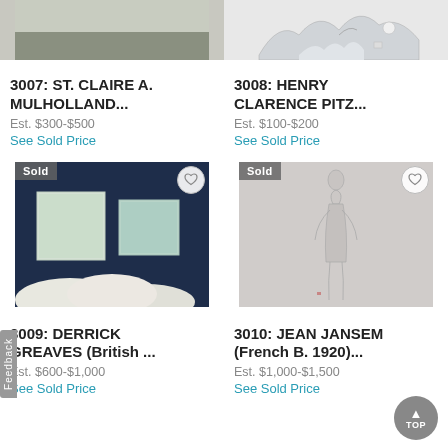[Figure (photo): Partial top of auction lot image left - abstract/landscape, cropped]
[Figure (photo): Partial top of auction lot image right - pencil sketch of snowy mountain/house scene, cropped]
3007: ST. CLAIRE A. MULHOLLAND...
Est. $300-$500
See Sold Price
3008: HENRY CLARENCE PITZ...
Est. $100-$200
See Sold Price
[Figure (photo): Auction lot 3009 - abstract painting with two pale green squares on dark blue background above white billowing forms. Sold badge visible. Heart button top right.]
[Figure (photo): Auction lot 3010 - pale grey relief or drawing of standing figure. Sold badge visible. Heart button top right.]
3009: DERRICK GREAVES (British ...
Est. $600-$1,000
See Sold Price
3010: JEAN JANSEM (French B. 1920)...
Est. $1,000-$1,500
See Sold Price